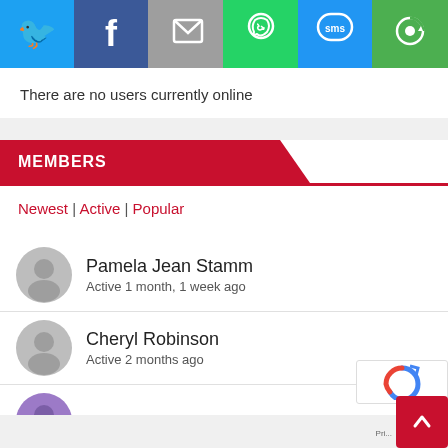[Figure (infographic): Social sharing bar with icons: Twitter (blue), Facebook (dark blue), Email (gray), WhatsApp (green), SMS (blue), Other/refresh (green)]
There are no users currently online
MEMBERS
Newest | Active | Popular
Pamela Jean Stamm
Active 1 month, 1 week ago
Cheryl Robinson
Active 2 months ago